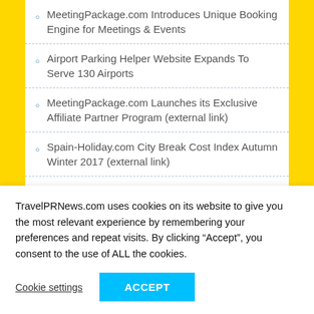MeetingPackage.com Introduces Unique Booking Engine for Meetings & Events
Airport Parking Helper Website Expands To Serve 130 Airports
MeetingPackage.com Launches its Exclusive Affiliate Partner Program (external link)
Spain-Holiday.com City Break Cost Index Autumn Winter 2017 (external link)
Continuing Growth Triggers Expansion and New Office in Spain for MeetingPackage.com (external link)
TravelPRNews.com uses cookies on its website to give you the most relevant experience by remembering your preferences and repeat visits. By clicking “Accept”, you consent to the use of ALL the cookies.
Cookie settings  ACCEPT